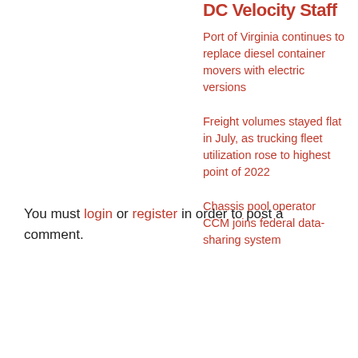DC Velocity Staff
Port of Virginia continues to replace diesel container movers with electric versions
Freight volumes stayed flat in July, as trucking fleet utilization rose to highest point of 2022
Chassis pool operator CCM joins federal data-sharing system
You must login or register in order to post a comment.